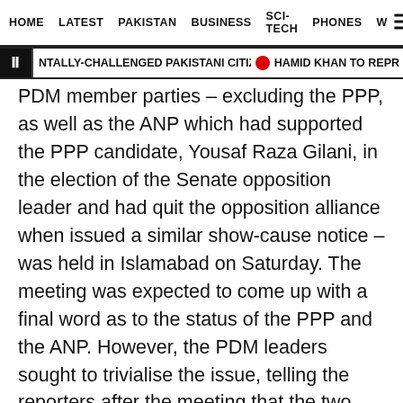HOME   LATEST   PAKISTAN   BUSINESS   SCI-TECH   PHONES   W ☰
‖  NTALLY-CHALLENGED PAKISTANI CITIZEN AS 'TERRORIST'  🔴  HAMID KHAN TO REPR
PDM member parties – excluding the PPP, as well as the ANP which had supported the PPP candidate, Yousaf Raza Gilani, in the election of the Senate opposition leader and had quit the opposition alliance when issued a similar show-cause notice – was held in Islamabad on Saturday. The meeting was expected to come up with a final word as to the status of the PPP and the ANP. However, the PDM leaders sought to trivialise the issue, telling the reporters after the meeting that the two parties were not discussed in the meeting at all, and that if they wanted to rejoin the alliance, they could do so by explaining their position.
That the conflict within the PDM persists augers well for